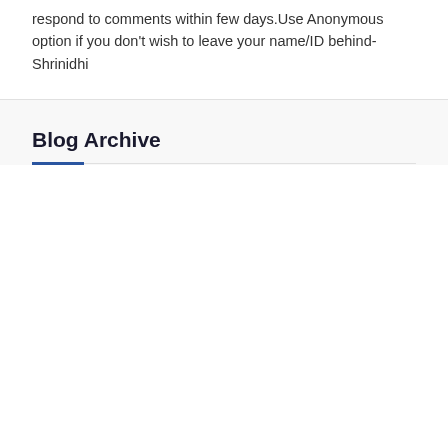respond to comments within few days.Use Anonymous option if you don't wish to leave your name/ID behind- Shrinidhi
Blog Archive